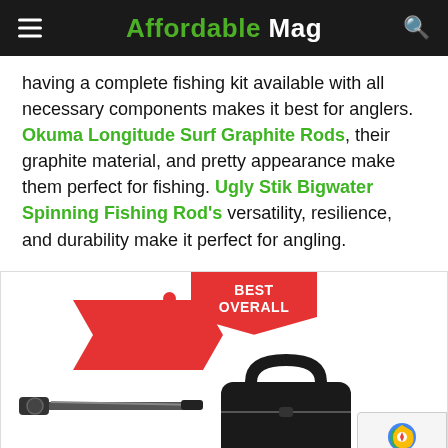Affordable Mag
having a complete fishing kit available with all necessary components makes it best for anglers. Okuma Longitude Surf Graphite Rods, their graphite material, and pretty appearance make them perfect for fishing. Ugly Stik Bigwater Spinning Fishing Rod's versatility, resilience, and durability make it perfect for angling.
[Figure (photo): Product image card showing a fishing kit with 'BEST OVERALL' badge, a red arrow/chevron shape, a red dot marker, and product images including a fishing rod and tackle bag at the bottom. A reCAPTCHA privacy badge is visible in the bottom right corner.]